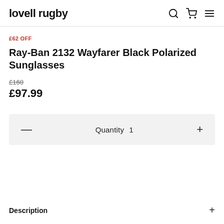lovell rugby
£62 OFF
Ray-Ban 2132 Wayfarer Black Polarized Sunglasses
£160 £97.99
Quantity 1
Description